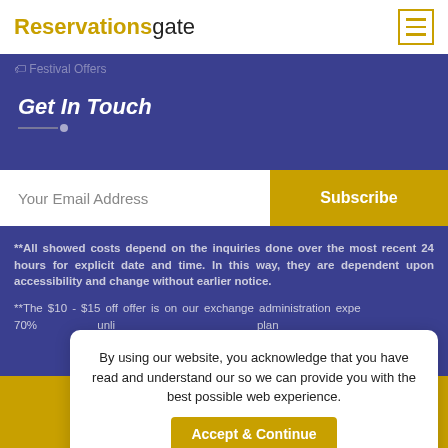Reservationsgate
Festival Offers
Get In Touch
Your Email Address
Subscribe
**All showed costs depend on the inquiries done over the most recent 24 hours for explicit date and time. In this way, they are dependent upon accessibility and change without earlier notice.
**The $10 - $15 off offer is on our exchange administration expenses (administration charge). Customers who book with us get the most reduced conceivable cost with unlimited advantages for your exchanges while coordinating with or better than anything plans...
By using our website, you acknowledge that you have read and understand our so we can provide you with the best possible web experience.
Accept & Continue
Call Us: 1-805-410-9066
click to call